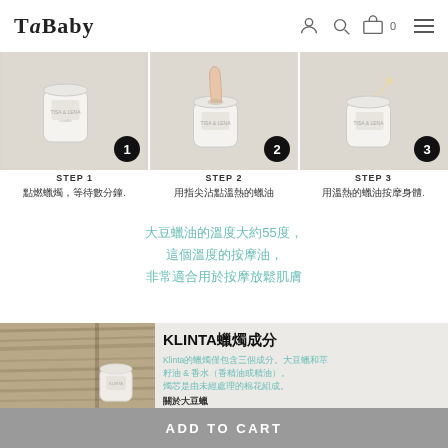TaBaby — navigation header with logo, user, search, cart (0), menu
[Figure (photo): Three-step instructional photos: Step 1 shows a candle jar, Step 2 shows a finger touching melted wax, Step 3 shows wax being poured. Each image has a numbered circle badge (1, 2, 3).]
STEP 1
點燃蠟燭，等待數分鐘.
STEP 2
用指尖沾點溫熱的蠟油
STEP 3
用溫熱的蠟油按摩身體.
大豆蠟油的溫度大約55度，
這個溫度的按摩油，
非常適合用於按摩放鬆肌膚
[Figure (photo): Product section with wood-textured background on the left and a candle on it, and KLINTA candle ingredient information on the right.]
KLINTA蠟燭成分
Klinta的蠟燭僅包含三個成分。大豆蠟和萃籽油 & 香水（香精油或精油）。燭芯是由未經處理的棉花組成。
關於大豆蠟
ADD TO CART